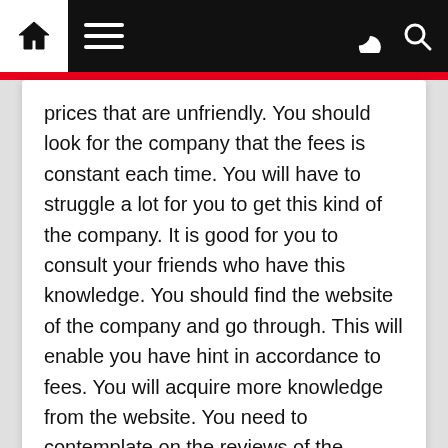[Navigation bar with home, menu, dark mode, and search icons]
prices that are unfriendly. You should look for the company that the fees is constant each time. You will have to struggle a lot for you to get this kind of the company. It is good for you to consult your friends who have this knowledge. You should find the website of the company and go through. This will enable you have hint in accordance to fees. You will acquire more knowledge from the website. You need to contemplate on the reviews of the company. You will know a good company by positive reviews.
Getting Down To Basics with Design
The Beginners Guide To Plans (Chapter 1)